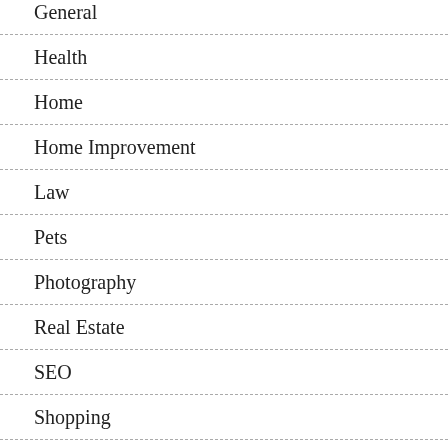General
Health
Home
Home Improvement
Law
Pets
Photography
Real Estate
SEO
Shopping